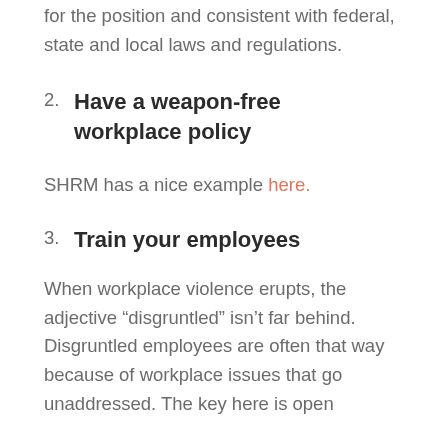for the position and consistent with federal, state and local laws and regulations.
2. Have a weapon-free workplace policy
SHRM has a nice example here.
3. Train your employees
When workplace violence erupts, the adjective “disgruntled” isn’t far behind. Disgruntled employees are often that way because of workplace issues that go unaddressed. The key here is open